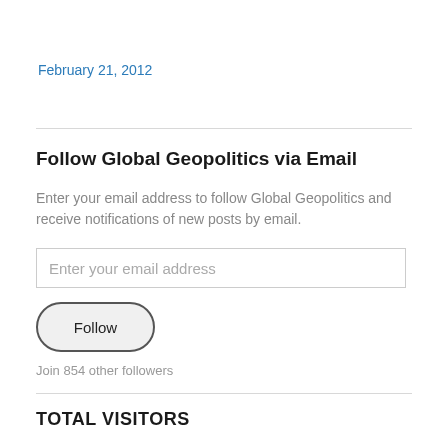February 21, 2012
Follow Global Geopolitics via Email
Enter your email address to follow Global Geopolitics and receive notifications of new posts by email.
Enter your email address
Follow
Join 854 other followers
TOTAL VISITORS